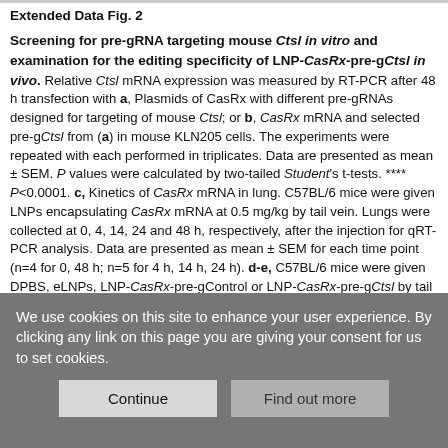Extended Data Fig. 2

Screening for pre-gRNA targeting mouse Ctsl in vitro and examination for the editing specificity of LNP-CasRx-pre-gCtsl in vivo. Relative Ctsl mRNA expression was measured by RT-PCR after 48 h transfection with a, Plasmids of CasRx with different pre-gRNAs designed for targeting of mouse Ctsl; or b, CasRx mRNA and selected pre-gCtsl from (a) in mouse KLN205 cells. The experiments were repeated with each performed in triplicates. Data are presented as mean ± SEM. P values were calculated by two-tailed Student's t-tests. **** P<0.0001. c, Kinetics of CasRx mRNA in lung. C57BL/6 mice were given LNPs encapsulating CasRx mRNA at 0.5 mg/kg by tail vein. Lungs were collected at 0, 4, 14, 24 and 48 h, respectively, after the injection for qRT-PCR analysis. Data are presented as mean ± SEM for each time point (n=4 for 0, 48 h; n=5 for 4 h, 14 h, 24 h). d-e, C57BL/6 mice were given DPBS, eLNPs, LNP-CasRx-pre-gControl or LNP-CasRx-pre-gCtsl by tail vein. After 72 h, the lung, liver and spleen were collected for analysis. d, Ctsl mRNA levels in liver and spleen are unchanged by LNP-CasRx-pre-gCtsl treatment. e, mRNA levels of isoform Ctsd, Ctsb and Ctss in lung are unchanged by LNP-CasRx-pre-gCtsl treatment. Transcript levels are normalized by Gapdh and presented as mean ± SEM.
We use cookies on this site to enhance your user experience. By clicking any link on this page you are giving your consent for us to set cookies.